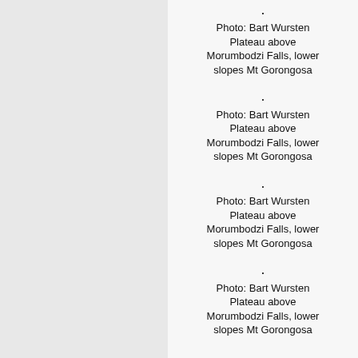.
Photo: Bart Wursten
Plateau above Morumbodzi Falls, lower slopes Mt Gorongosa
.
Photo: Bart Wursten
Plateau above Morumbodzi Falls, lower slopes Mt Gorongosa
.
Photo: Bart Wursten
Plateau above Morumbodzi Falls, lower slopes Mt Gorongosa
.
Photo: Bart Wursten
Plateau above Morumbodzi Falls, lower slopes Mt Gorongosa
.
Photo: Bart Wursten
Plateau above Morumbodzi Falls, lower slopes Mt Gorongosa